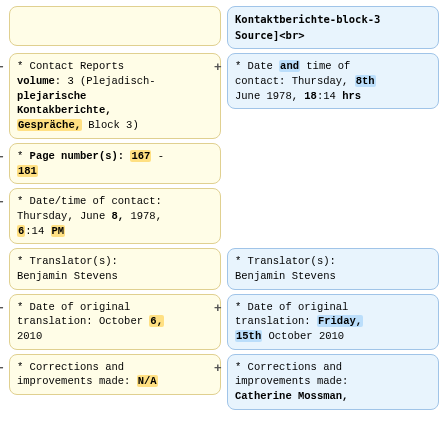Kontaktberichte-block-3 Source]<br>
* Contact Reports volume: 3 (Plejadisch-plejarische Kontakberichte, Gespräche, Block 3)
* Date and time of contact: Thursday, 8th June 1978, 18:14 hrs
* Page number(s): 167 - 181
* Date/time of contact: Thursday, June 8, 1978, 6:14 PM
* Translator(s): Benjamin Stevens
* Translator(s): Benjamin Stevens
* Date of original translation: October 6, 2010
* Date of original translation: Friday, 15th October 2010
* Corrections and improvements made: N/A
* Corrections and improvements made: Catherine Mossman,